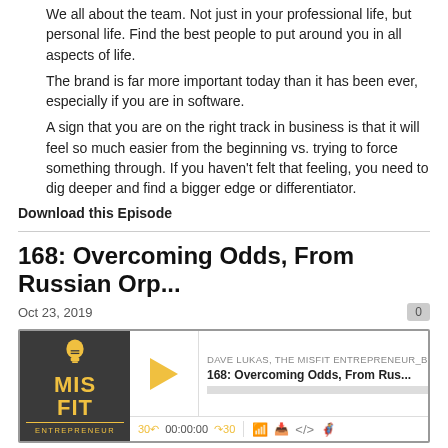1. We all about the team. Not just in your professional life, but personal life. Find the best people to put around you in all aspects of life.
2. The brand is far more important today than it has been ever, especially if you are in software.
3. A sign that you are on the right track in business is that it will feel so much easier from the beginning vs. trying to force something through. If you haven't felt that feeling, you need to dig deeper and find a bigger edge or differentiator.
Download this Episode
168: Overcoming Odds, From Russian Orp...
Oct 23, 2019
[Figure (other): Podcast player widget for 'Misfit Entrepreneur' episode 168: Overcoming Odds, From Rus... with play button, progress bar, and playback controls showing 00:00:00]
This week's Misfit Entrepreneur is Oleg Loughheed. Oleg has an incredible story. He was born into poverty in Russia. He lived with an alcoholic mother, slept with bed bugs, and was lucky to get a good meal when he could – even if that menat he had to steal it. He never met his father. At 12 years old, he left his birthmother behind but he missed her and became an orphan, at a state...